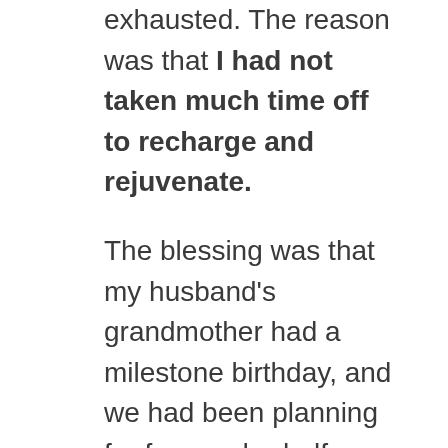exhausted.  The reason was that I had not taken much time off to recharge and rejuvenate.
The blessing was that my husband's grandmother had a milestone birthday, and we had been planning for four-and-a-half months to go visit her.  Since the trip would be overseas, we decided that we would make a vacation out of it.
Although I am one that usually prefers to stay home and go nowhere (unless I have to buy groceries), just the fact of looking forward to something out of the ordinary and a break from the day-to-day became a fresh in...